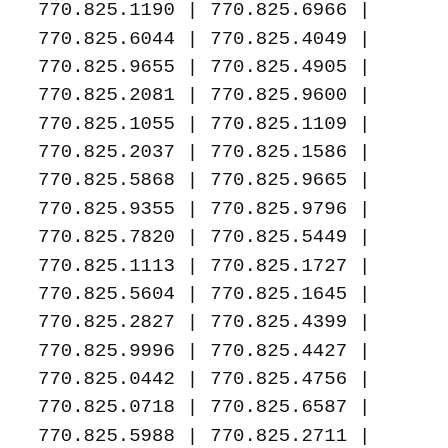| Col1 | Col2 |
| --- | --- |
| 770.825.1190 | 770.825.6966 |
| 770.825.6044 | 770.825.4049 |
| 770.825.9655 | 770.825.4905 |
| 770.825.2081 | 770.825.9600 |
| 770.825.1055 | 770.825.1109 |
| 770.825.2037 | 770.825.1586 |
| 770.825.5868 | 770.825.9665 |
| 770.825.9355 | 770.825.9796 |
| 770.825.7820 | 770.825.5449 |
| 770.825.1113 | 770.825.1727 |
| 770.825.5604 | 770.825.1645 |
| 770.825.2827 | 770.825.4399 |
| 770.825.9996 | 770.825.4427 |
| 770.825.0442 | 770.825.4756 |
| 770.825.0718 | 770.825.6587 |
| 770.825.5988 | 770.825.2711 |
| 770.825.4889 | 770.825.0605 |
| 770.825.5512 | 770.825.4285 |